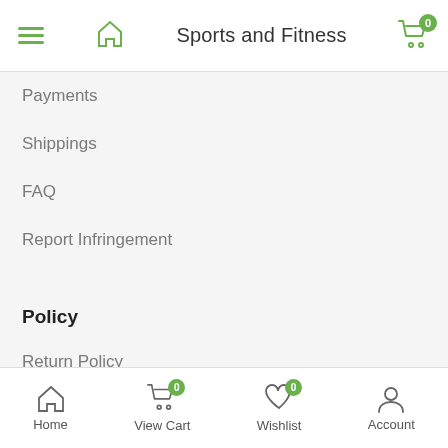Sports and Fitness
Payments
Shippings
FAQ
Report Infringement
Policy
Return Policy
Terms Of Use
Product Disclaimer
Privacy
Security
Home  View Cart  Wishlist  Account